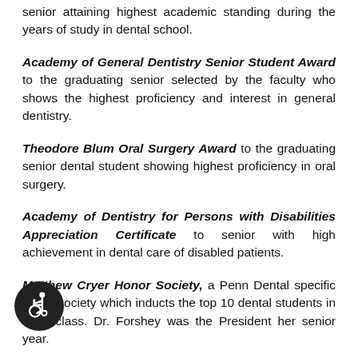senior attaining highest academic standing during the years of study in dental school.
Academy of General Dentistry Senior Student Award to the graduating senior selected by the faculty who shows the highest proficiency and interest in general dentistry.
Theodore Blum Oral Surgery Award to the graduating senior dental student showing highest proficiency in oral surgery.
Academy of Dentistry for Persons with Disabilities Appreciation Certificate to senior with high achievement in dental care of disabled patients.
Matthew Cryer Honor Society, a Penn Dental specific honor society which inducts the top 10 dental students in each class. Dr. Forshey was the President her senior year.
[Figure (illustration): Wheelchair accessibility icon — white figure in wheelchair on dark circular background]